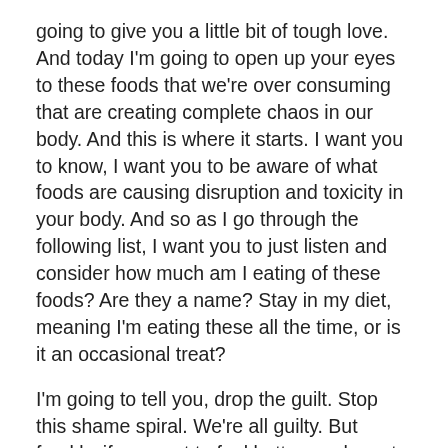going to give you a little bit of tough love. And today I'm going to open up your eyes to these foods that we're over consuming that are creating complete chaos in our body. And this is where it starts. I want you to know, I want you to be aware of what foods are causing disruption and toxicity in your body. And so as I go through the following list, I want you to just listen and consider how much am I eating of these foods? Are they a name? Stay in my diet, meaning I'm eating these all the time, or is it an occasional treat?
I'm going to tell you, drop the guilt. Stop this shame spiral. We're all guilty. But frankly, if we want to feel better, we have to do better. So are you ready? Let's do this together. Here are the top eight foods that calls hormone chaos.
Number one, processed foods. You've heard me